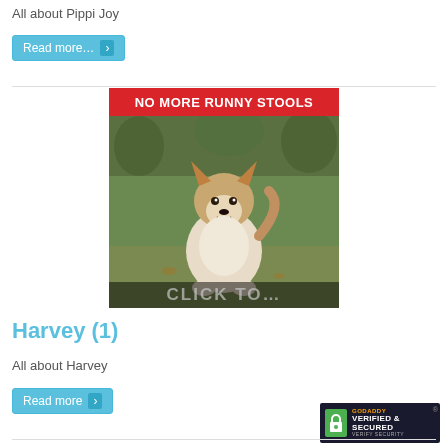All about Pippi Joy
Read more ›
[Figure (photo): Photo of a Pomeranian dog sitting outdoors on grass with text banner 'NO MORE RUNNY STOOLS' at top and partially visible text at bottom]
Harvey (1)
All about Harvey
Read more ›
[Figure (logo): GoDaddy Verified & Secured badge]